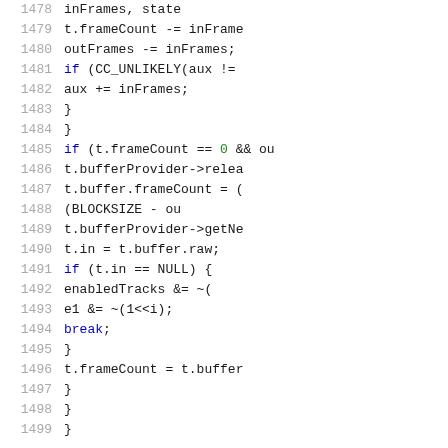[Figure (screenshot): Source code listing showing C++ code lines 1478-1499 with line numbers in gray on the left and code in dark/blue/green colors on the right]